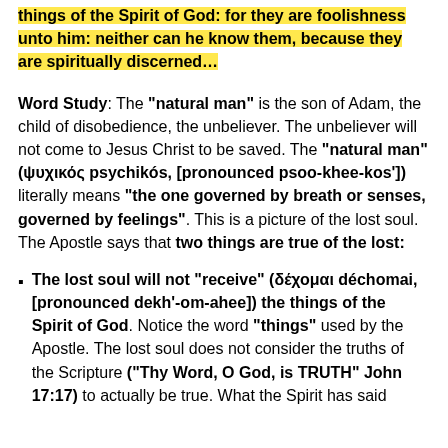things of the Spirit of God: for they are foolishness unto him: neither can he know them, because they are spiritually discerned…
Word Study: The "natural man" is the son of Adam, the child of disobedience, the unbeliever. The unbeliever will not come to Jesus Christ to be saved. The "natural man" (ψυχικός psychikós, [pronounced psoo-khee-kos']) literally means "the one governed by breath or senses, governed by feelings". This is a picture of the lost soul. The Apostle says that two things are true of the lost:
The lost soul will not "receive" (δέχομαι déchomai, [pronounced dekh'-om-ahee]) the things of the Spirit of God. Notice the word "things" used by the Apostle. The lost soul does not consider the truths of the Scripture ("Thy Word, O God, is TRUTH" John 17:17) to actually be true. What the Spirit has said…